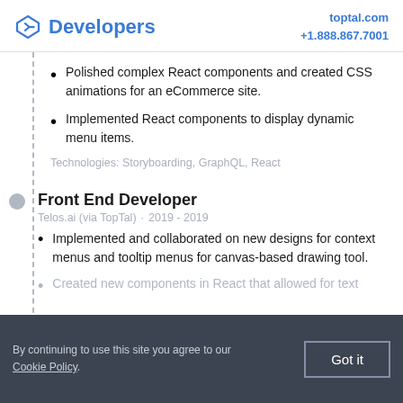Developers | toptal.com +1.888.867.7001
Polished complex React components and created CSS animations for an eCommerce site.
Implemented React components to display dynamic menu items.
Technologies: Storyboarding, GraphQL, React
Front End Developer
Telos.ai (via TopTal) · 2019 - 2019
Implemented and collaborated on new designs for context menus and tooltip menus for canvas-based drawing tool.
Created new components in React that allowed for text...
By continuing to use this site you agree to our Cookie Policy. Got it